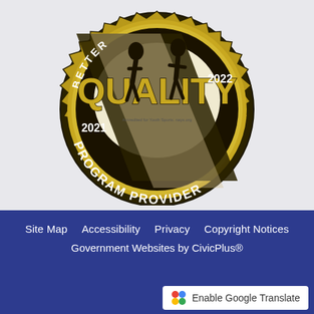[Figure (logo): BBB Better Quality Program Provider 2021-2022 gold badge/seal with silhouette figures]
Site Map   Accessibility   Privacy   Copyright Notices   Government Websites by CivicPlus®   Enable Google Translate